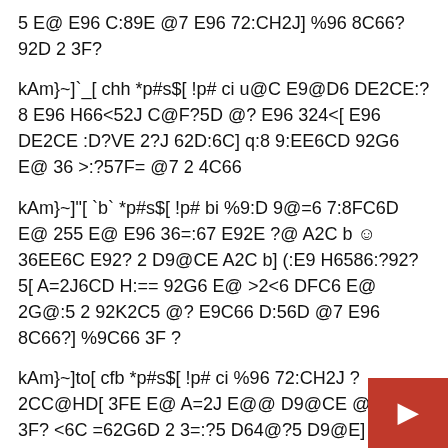5 E@ E96 C:89E @7 E96 72:CH2J] %96 8C66? 92D 2 3F?
kAm}~]`_[ chh *p#s$[ !p# ci u@C E9@D6 DE2CE:?8 E96 H66<52J C@F?5D @? E96 324<[ E96 DE2CE :D?VE 2?J 62D:6C] q:8 9:EE6CD 92G6 E@ 36 >:?57F= @7 2 4C66
kAm}~]"[ `b` *p#s$[ !p# bi %9:D 9@=6 7:8FC6D E@ 255 E@ E96 36=:67 E92E ?@ A2C b 😊 36EE6C E92? 2 D9@CE A2C b] (:E9 H6586:?92?5[ A=2J6CD H:== 92G6 E@ >2<6 DFC6 E@ 2G@:5 2 92K2C5 @? E9C66 D:56D @7 E96 8C66?] %9C66 3F ?
kAm}~]to[ cfb *p#s$[ !p# ci %96 72:CH2J ? 2CC@HD[ 3FE E@ A=2J E@@ D9@CE @7 E96 3F? <6C =62G6D 2 3=:?5 D64@?5 D9@E] %96 8C6 @?=J yy J2C5D 566A[ 925 E96 D64@?5D>2== AFEE:?8 DFC7246 2?5 D=@A6D 7C@> 324< E@